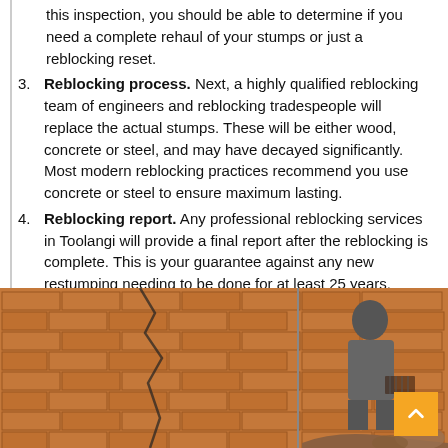this inspection, you should be able to determine if you need a complete rehaul of your stumps or just a reblocking reset.
3. Reblocking process. Next, a highly qualified reblocking team of engineers and reblocking tradespeople will replace the actual stumps. These will be either wood, concrete or steel, and may have decayed significantly. Most modern reblocking practices recommend you use concrete or steel to ensure maximum lasting.
4. Reblocking report. Any professional reblocking services in Toolangi will provide a final report after the reblocking is complete. This is your guarantee against any new restumping needing to be done for at least 25 years.
[Figure (photo): Two side-by-side photos showing cracked brick walls of a house foundation, with a person in a grey hoodie visible in the right photo near the damaged brickwork.]